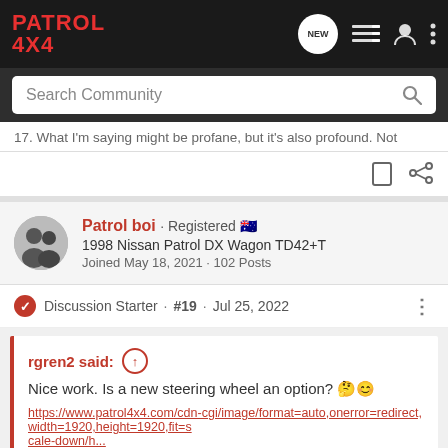PATROL 4X4
Search Community
17. What I'm saying might be profane, but it's also profound. Not
Patrol boi · Registered 🇦🇺
1998 Nissan Patrol DX Wagon TD42+T
Joined May 18, 2021 · 102 Posts
Discussion Starter · #19 · Jul 25, 2022
rgren2 said: ↑
Nice work. Is a new steering wheel an option? 🤔😊
https://www.patrol4x4.com/cdn-cgi/image/format=auto,onerror=redirect,width=1920,height=1920,fit=scale-down/h...49-ing 54...
[Figure (screenshot): Advertisement banner for OnX Offroad: Offroad Trail Maps & GPS - Try For Free]